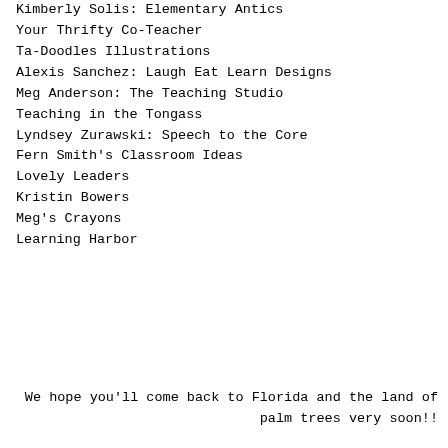Kimberly Solis: Elementary Antics
Your Thrifty Co-Teacher
Ta-Doodles Illustrations
Alexis Sanchez: Laugh Eat Learn Designs
Meg Anderson: The Teaching Studio
Teaching in the Tongass
Lyndsey Zurawski: Speech to the Core
Fern Smith's Classroom Ideas
Lovely Leaders
Kristin Bowers
Meg's Crayons
Learning Harbor
We hope you'll come back to Florida and the land of palm trees very soon!!